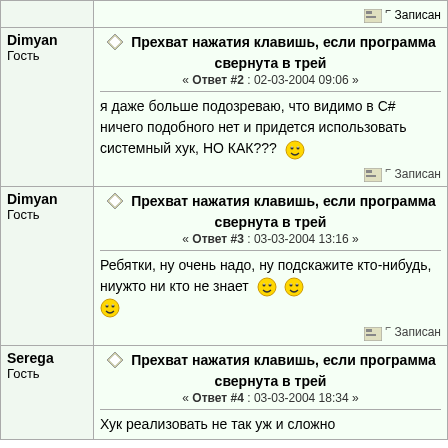| User | Post |
| --- | --- |
|  | Записан |
| Dimyan
Гость | Прехват нажатия клавишь, если программа свернута в трей
« Ответ #2 : 02-03-2004 09:06 »
я даже больше подозреваю, что видимо в C# ничего подобного нет и придется использовать системный хук, НО КАК???
Записан |
| Dimyan
Гость | Прехват нажатия клавишь, если программа свернута в трей
« Ответ #3 : 03-03-2004 13:16 »
Ребятки, ну очень надо, ну подскажите кто-нибудь, ниужто ни кто не знает
Записан |
| Serega
Гость | Прехват нажатия клавишь, если программа свернута в трей
« Ответ #4 : 03-03-2004 18:34 »
Хук реализовать не так уж и сложно |